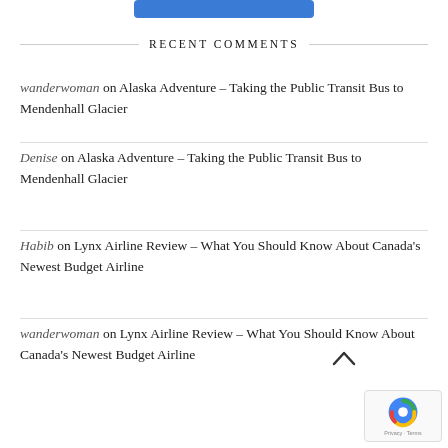[Figure (other): Blue button strip at top of page]
RECENT COMMENTS
wanderwoman on Alaska Adventure – Taking the Public Transit Bus to Mendenhall Glacier
Denise on Alaska Adventure – Taking the Public Transit Bus to Mendenhall Glacier
Habib on Lynx Airline Review – What You Should Know About Canada's Newest Budget Airline
wanderwoman on Lynx Airline Review – What You Should Know About Canada's Newest Budget Airline